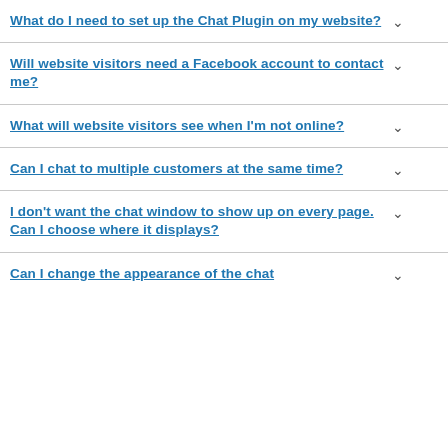What do I need to set up the Chat Plugin on my website?
Will website visitors need a Facebook account to contact me?
What will website visitors see when I'm not online?
Can I chat to multiple customers at the same time?
I don't want the chat window to show up on every page. Can I choose where it displays?
Can I change the appearance of the chat